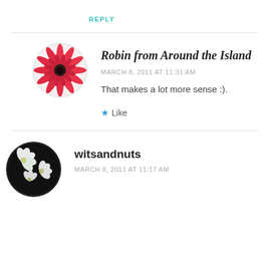REPLY
[Figure (photo): Circular avatar of a pink gerbera daisy flower on white background]
Robin from Around the Island
MARCH 8, 2011 AT 11:31 AM
That makes a lot more sense :).
★ Like
[Figure (photo): Circular avatar of white flowers on dark background]
witsandnuts
MARCH 8, 2011 AT 11:17 AM